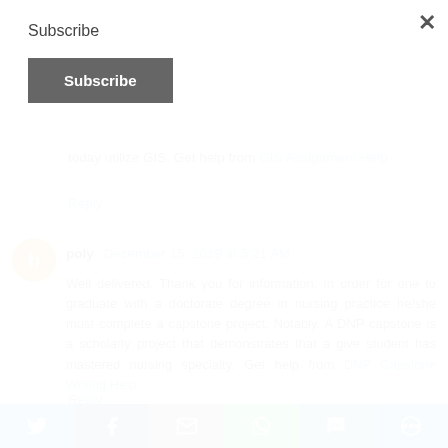Subscribe
Subscribe (button)
today utilize GIS. Get help from GIS Assignment Help
Reply
poly  December 15, 2019 at 5:21 AM
Well delivered. Thank you for information. In order for one to graduate with a doctorate degree in nursing practice he/she must complete a capstone project. Notably, A DNP capstone is a scholarly project that demonstrates that a give student has mastered nursing specialty. Get help from DNP Capstone Writing Help
Reply
[Figure (infographic): Social sharing bar with icons for Twitter, Facebook, Email, WhatsApp, SMS, and More]